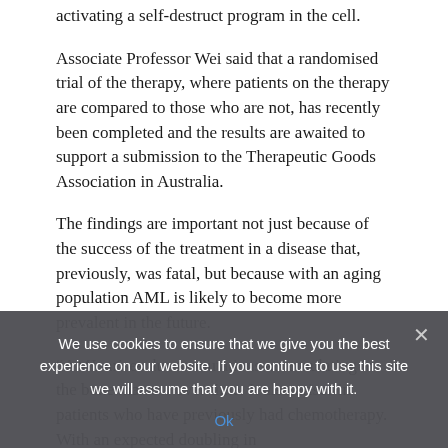activating a self-destruct program in the cell.
Associate Professor Wei said that a randomised trial of the therapy, where patients on the therapy are compared to those who are not, has recently been completed and the results are awaited to support a submission to the Therapeutic Goods Association in Australia.
The findings are important not just because of the success of the treatment in a disease that, previously, was fatal, but because with an aging population AML is likely to become more prevalent in the future.
“AML arises due to mutations accumulating in the bone marrow over time. It also arises in patients who have previously had chemotherapy. With an expected doubling in
We use cookies to ensure that we give you the best experience on our website. If you continue to use this site we will assume that you are happy with it.